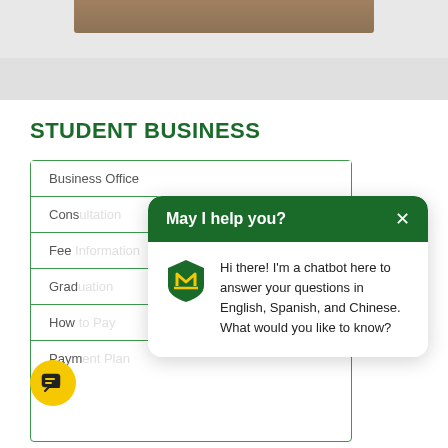[Figure (photo): Partial wooden table/floor image at top of page]
STUDENT BUSINESS
Business Office
Cons...
Fee...
Grad...
How...
Paym...
[Figure (screenshot): Chatbot popup with green header saying 'May I help you?' and university logo, with message: Hi there! I'm a chatbot here to answer your questions in English, Spanish, and Chinese. What would you like to know?]